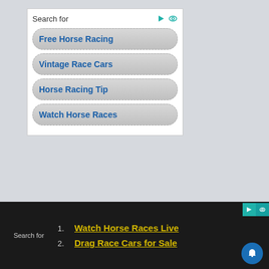[Figure (screenshot): Search ad widget with 'Search for' header and four blue clickable links: 'Free Horse Racing', 'Vintage Race Cars', 'Horse Racing Tip', 'Watch Horse Races']
SUBSCRIBE!
SIGN UP NOW
For Email Newsletters you can trust.
1. Watch Horse Races Live
2. Drag Race Cars for Sale
Search for